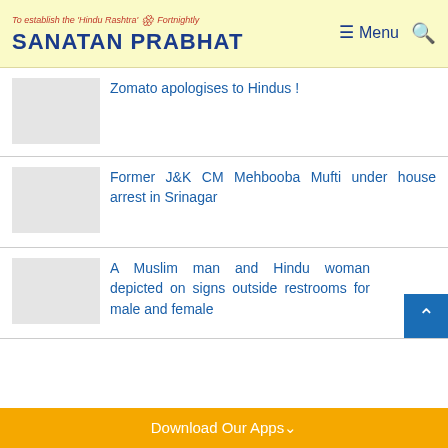To establish the 'Hindu Rashtra' Fortnightly | SANATAN PRABHAT | Menu | Search
Zomato apologises to Hindus !
Former J&K CM Mehbooba Mufti under house arrest in Srinagar
A Muslim man and Hindu woman depicted on signs outside restrooms for male and female
Download Our Apps